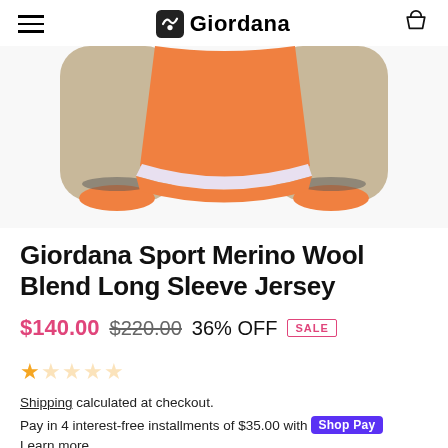Giordana (logo with hamburger menu and cart icon)
[Figure (photo): Close-up photo of a Giordana Sport Merino Wool Blend Long Sleeve Jersey showing the hem and sleeves in orange and beige/tan colors against a white background]
Giordana Sport Merino Wool Blend Long Sleeve Jersey
$140.00  $220.00  36% OFF  SALE
0 out of 5 stars (star rating)
Shipping calculated at checkout.
Pay in 4 interest-free installments of $35.00 with Shop Pay. Learn more